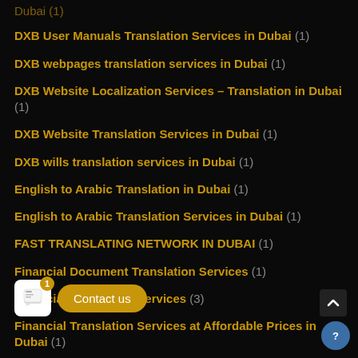Dubai (1)
DXB User Manuals Translation Services in Dubai (1)
DXB webpages translation services in Dubai (1)
DXB Website Localization Services – Translation in Dubai (1)
DXB Website Translation Services in Dubai (1)
DXB wills translation services in Dubai (1)
English to Arabic Translation in Dubai (1)
English to Arabic Translation Services in Dubai (1)
FAST TRANSLATING NETWORK IN DUBAI (1)
Financial Document Translation Services (1)
Financial Translation Services (3)
Financial Translation Services at Affordable Prices in Dubai (1)
Financial Translation Services in Dubai (1)
Initial Public Offerings Translation Services (1)